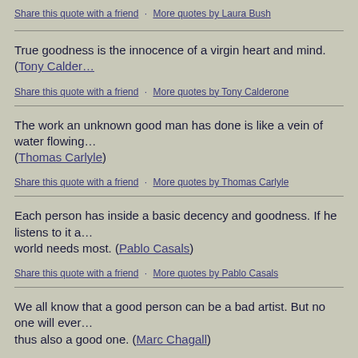Share this quote with a friend · More quotes by Laura Bush
True goodness is the innocence of a virgin heart and mind. (Tony Calderone)
Share this quote with a friend · More quotes by Tony Calderone
The work an unknown good man has done is like a vein of water flowing... (Thomas Carlyle)
Share this quote with a friend · More quotes by Thomas Carlyle
Each person has inside a basic decency and goodness. If he listens to it a... world needs most. (Pablo Casals)
Share this quote with a friend · More quotes by Pablo Casals
We all know that a good person can be a bad artist. But no one will ever... thus also a good one. (Marc Chagall)
Share this quote with a friend · More quotes by Marc Chagall
Our goodness comes solely from thinking on goodness; our wickedness... our own contemplation. (John Jay Chapman)